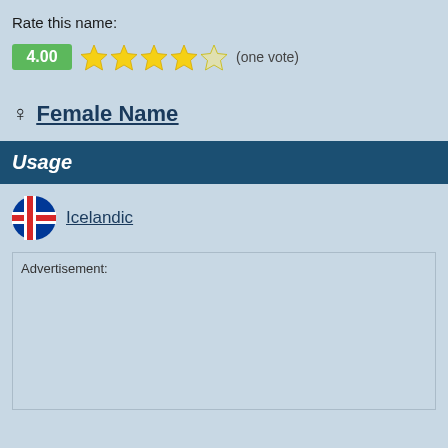Rate this name:
[Figure (infographic): Rating display showing green score box with 4.00, four filled yellow stars and one empty star, and text '(one vote)']
♀ Female Name
Usage
Icelandic
Advertisement: